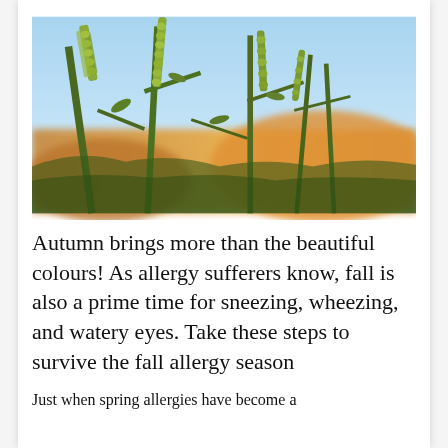[Figure (photo): Close-up photograph of ragweed or similar allergy-causing plant with yellow-green spiky flower clusters against a blurred blue sky and orange/golden field background.]
Autumn brings more than the beautiful colours! As allergy sufferers know, fall is also a prime time for sneezing, wheezing, and watery eyes. Take these steps to survive the fall allergy season
Just when spring allergies have become a